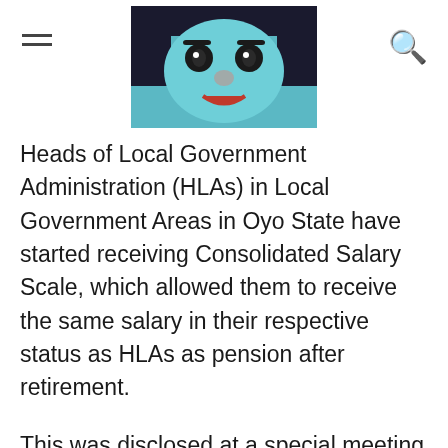[Navigation header with hamburger menu, decorative mask image, and search icon]
[Figure (photo): A decorative mask with blue, black and red colors, resembling a theatrical or cultural mask face.]
Heads of Local Government Administration (HLAs) in Local Government Areas in Oyo State have started receiving Consolidated Salary Scale, which allowed them to receive the same salary in their respective status as HLAs as pension after retirement.
This was disclosed at a special meeting held by the State Commissioner for Information, Culture and Tourism, Dr. Wasiu Olatubosun, alongside with the Permanent Secretary, Ministryof Information, Culture and Tourism, Dr. Bunmi Babalola and the